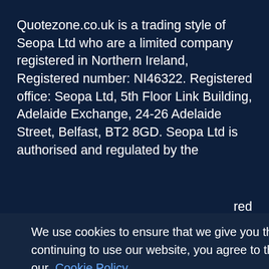Quotezone.co.uk is a trading style of Seopa Ltd who are a limited company registered in Northern Ireland, Registered number: NI46322. Registered office: Seopa Ltd, 5th Floor Link Building, Adelaide Exchange, 24-26 Adelaide Street, Belfast, BT2 8GD. Seopa Ltd is authorised and regulated by the
We use cookies to ensure that we give you the best experience on our website. By continuing to use our website, you agree to the use of cookies. To find out more, read our Cookie Policy
more, check our Cookie Policy.